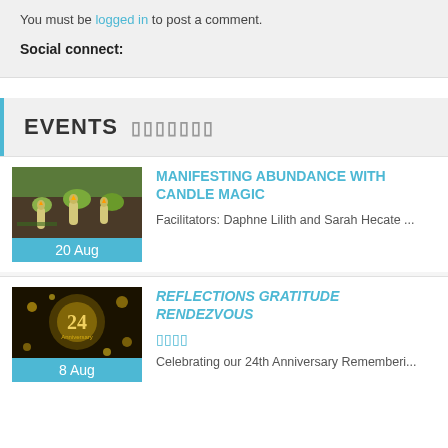You must be logged in to post a comment.
Social connect:
EVENTS
[Figure (photo): Green candles on wooden surface with leaves, date bar showing 20 Aug]
MANIFESTING ABUNDANCE WITH CANDLE MAGIC
Facilitators: Daphne Lilith and Sarah Hecate ...
[Figure (photo): Gold anniversary decorations with number 24, date bar showing 8 Aug]
REFLECTIONS GRATITUDE RENDEZVOUS
Celebrating our 24th Anniversary Rememberi...